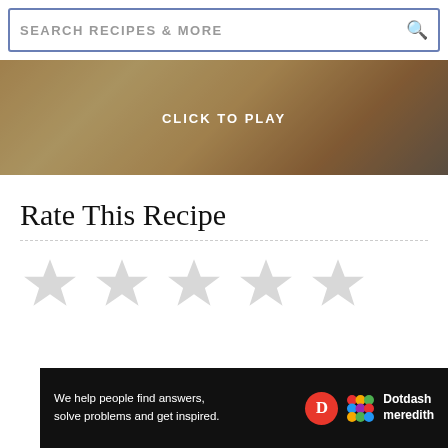SEARCH RECIPES & MORE
[Figure (photo): Food photo thumbnail with cookies and coffee mug, overlaid with CLICK TO PLAY text]
Rate This Recipe
[Figure (other): Five empty grey star rating icons]
Ad
[Figure (infographic): Dotdash Meredith ad banner: We help people find answers, solve problems and get inspired.]